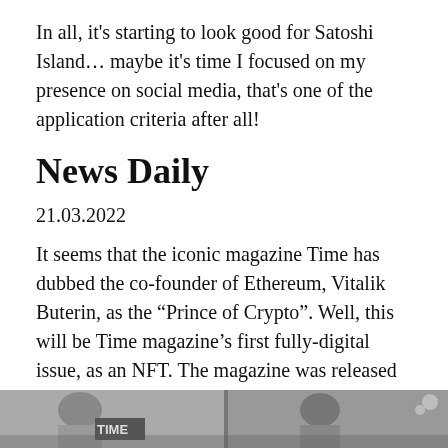In all, it's starting to look good for Satoshi Island… maybe it's time I focused on my presence on social media, that's one of the application criteria after all!
News Daily
21.03.2022
It seems that the iconic magazine Time has dubbed the co-founder of Ethereum, Vitalik Buterin, as the “Prince of Crypto”. Well, this will be Time magazine’s first fully-digital issue, as an NFT. The magazine was released on 23 March 2022.
Do read on for more on Time’s venture into the world of NFTs!
[Figure (photo): Black and white photograph at the bottom of the page, appears to show people or figures, partially cropped.]